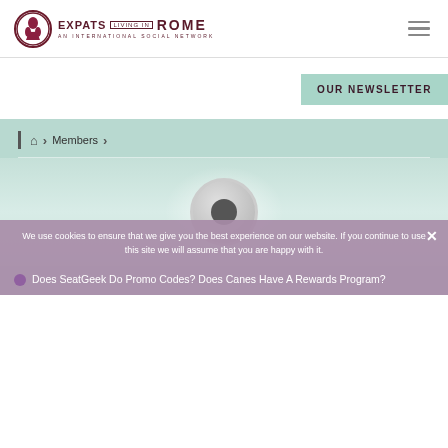[Figure (logo): Expats Living in Rome logo with circular emblem and text]
[Figure (illustration): Hamburger menu icon (three horizontal lines)]
[Figure (other): OUR NEWSLETTER green button]
| 🏠 > Members >
[Figure (illustration): Generic user avatar circle in teal/mint background area]
We use cookies to ensure that we give you the best experience on our website. If you continue to use this site we will assume that you are happy with it.
Does SeatGeek Do Promo Codes? Does Canes Have A Rewards Program?